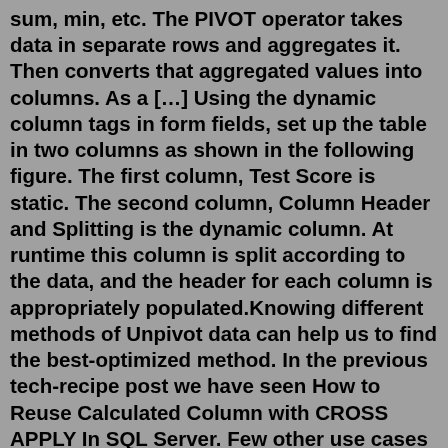sum, min, etc. The PIVOT operator takes data in separate rows and aggregates it. Then converts that aggregated values into columns. As a […] Using the dynamic column tags in form fields, set up the table in two columns as shown in the following figure. The first column, Test Score is static. The second column, Column Header and Splitting is the dynamic column. At runtime this column is split according to the data, and the header for each column is appropriately populated.Knowing different methods of Unpivot data can help us to find the best-optimized method. In the previous tech-recipe post we have seen How to Reuse Calculated Column with CROSS APPLY In SQL Server. Few other use cases of APPLY operators are worth learning as follows. 1. Unpivot the table data. 2.I'll create a few as a place to get started: Select the Date column in the Date table, then on the Add Columns tab, select Date, Month, Month. This gives us the month number. Select the Date column, Add Columns, Date, Year, Year. Select the Date column, Add Columns, Date, Month, Name of Month.select